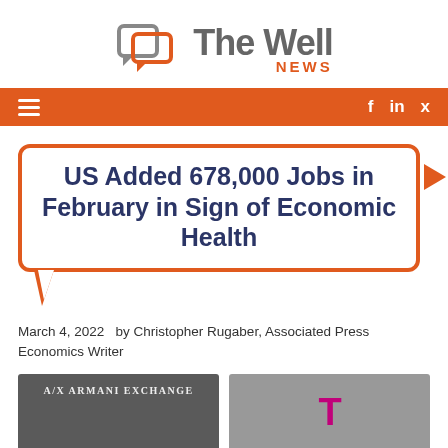[Figure (logo): The Well News logo with chat bubble icon and orange NEWS text]
Navigation bar with hamburger menu and social icons (f, in, Twitter)
US Added 678,000 Jobs in February in Sign of Economic Health
March 4, 2022  by Christopher Rugaber, Associated Press Economics Writer
[Figure (photo): Two photos side by side: Armani Exchange storefront and T-Mobile building]